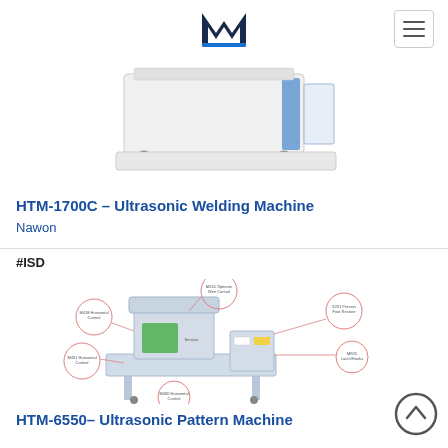M (logo) + hamburger menu
[Figure (photo): Partial product image of HTM-1700C Ultrasonic Welding Machine on white background, showing bottom portion of the machine with a drawer-like base and blue accent panel]
HTM-1700C – Ultrasonic Welding Machine
Nawon
#ISD
[Figure (engineering-diagram): HTM-6550 Ultrasonic Pattern Machine product diagram with labeled callouts pointing to various components including Tension Bar Control, Material Control, Presser Bar, Latch/Hooks, and other parts. Machine is light grey/blue with green accents on a work table.]
HTM-6550– Ultrasonic Pattern Machine